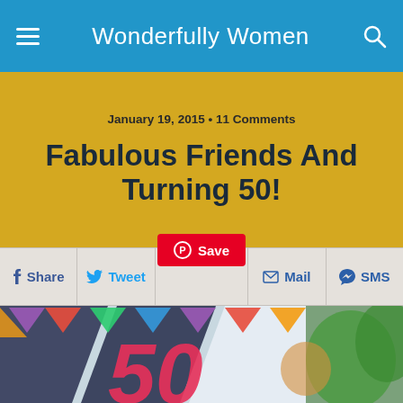Wonderfully Women
January 19, 2015 • 11 Comments
Fabulous Friends And Turning 50!
Share  Tweet  Save  Mail  SMS
[Figure (photo): Woman smiling at a 50th birthday party with colorful bunting banners overhead and a large pink '50' sign in the foreground]